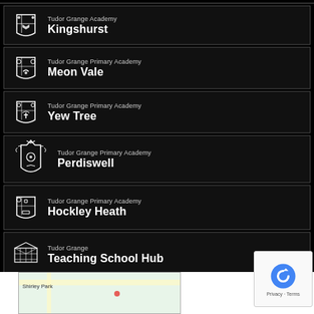Tudor Grange Academy Kingshurst
Tudor Grange Primary Academy Meon Vale
Tudor Grange Primary Academy Yew Tree
Tudor Grange Primary Academy Perdiswell
Tudor Grange Primary Academy Hockley Heath
Tudor Grange Teaching School Hub
[Figure (map): Map showing Shirley Park area]